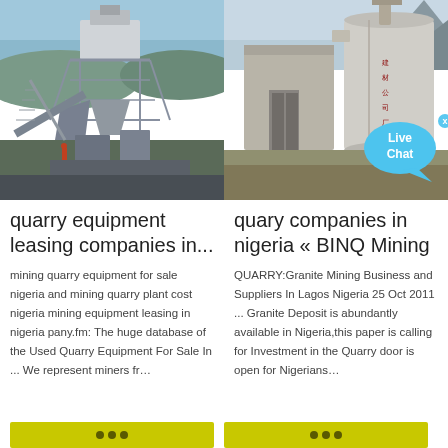[Figure (photo): Industrial quarry/mining equipment with large mechanical structure, scaffolding, and machinery under blue sky]
[Figure (photo): Large industrial silo/tank structure outdoors with mountains in background; Live Chat bubble overlay in bottom right]
quarry equipment leasing companies in...
quary companies in nigeria « BINQ Mining
mining quarry equipment for sale nigeria and mining quarry plant cost nigeria mining equipment leasing in nigeria pany.fm: The huge database of the Used Quarry Equipment For Sale In ... We represent miners fr…
QUARRY:Granite Mining Business and Suppliers In Lagos Nigeria 25 Oct 2011 ... Granite Deposit is abundantly available in Nigeria,this paper is calling for Investment in the Quarry door is open for Nigerians…